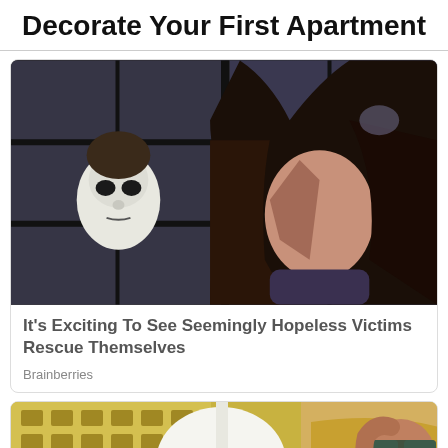Decorate Your First Apartment
[Figure (photo): A woman with long dark hair looking at camera with a masked figure (Halloween-style white mask) visible behind a window with grid panes in the background]
It's Exciting To See Seemingly Hopeless Victims Rescue Themselves
Brainberries
[Figure (photo): Partial image of a woman wearing sunglasses and yellow outfit reclining, with yellow woven chair visible, partially obscured by a white round table or object]
CLOSE